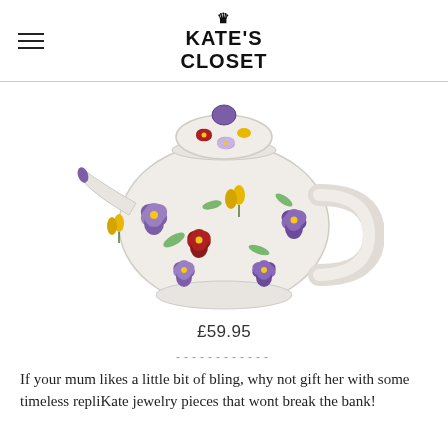KATE'S CLOSET
[Figure (photo): A ceramic teapot with a white background decorated with hand-painted pansy flowers in purple, red, and yellow with green leaves. The teapot has a round body, a curved handle, a spout, and a domed lid with a purple knob.]
£59.95
------------
If your mum likes a little bit of bling, why not gift her with some timeless repliKate jewelry pieces that wont break the bank!